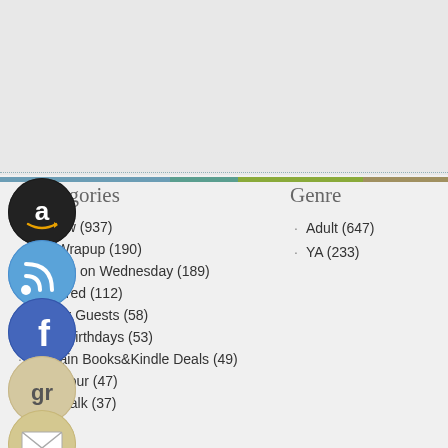[Figure (screenshot): Blog sidebar screenshot showing social media icons (Amazon, RSS, Facebook, Goodreads, Email), Categories list, and Genre list]
Categories
Review (937)
day Wrapup (190)
Waiting on Wednesday (189)
Featured (112)
Author Guests (58)
Book Birthdays (53)
Bargain Books&Kindle Deals (49)
Blog Tour (47)
Let's Talk (37)
Genre
Adult (647)
YA (233)